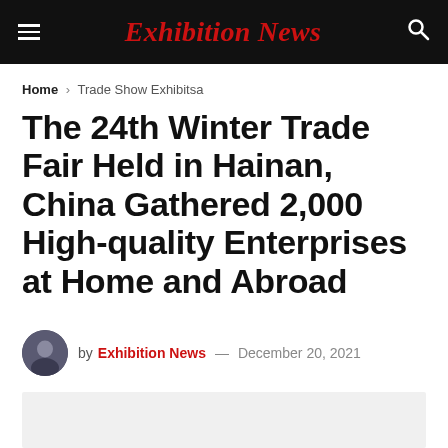Exhibition News
Home > Trade Show Exhibitsa
The 24th Winter Trade Fair Held in Hainan, China Gathered 2,000 High-quality Enterprises at Home and Abroad
by Exhibition News — December 20, 2021
[Figure (photo): Article image placeholder (light grey rectangle)]